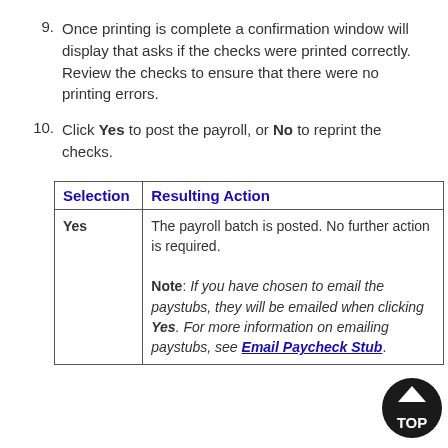9. Once printing is complete a confirmation window will display that asks if the checks were printed correctly. Review the checks to ensure that there were no printing errors.
10. Click Yes to post the payroll, or No to reprint the checks.
| Selection | Resulting Action |
| --- | --- |
| Yes | The payroll batch is posted. No further action is required.

Note: If you have chosen to email the paystubs, they will be emailed when clicking Yes. For more information on emailing paystubs, see Email Paycheck Stub. |